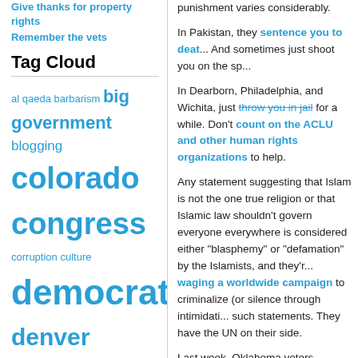Give thanks for property rights
Remember the vets
Tag Cloud
al qaeda barbarism big government blogging colorado congress corruption culture democrats denver economics economy elections environmentalism firearms freedom global warming gop gun control guns health care human rights humor iraq islam islamofascism israel journalism leftists liberty media bias military moonbats msm
punishment varies considerably.
In Pakistan, they sentence you to death. And sometimes just shoot you on the sp...
In Dearborn, Philadelphia, and Wichita, just throw you in jail for a while. Don't count on the ACLU and other human rights organizations to help.
Any statement suggesting that Islam is not the one true religion or that Islamic law shouldn't govern everyone everywhere is considered either "blasphemy" or "defamation" by the Islamists, and they're waging a worldwide campaign to criminalize (or silence through intimidation) such statements. They have the UN on their side.
Last week, Oklahoma voters — 70% of them — adopted a constitutional amendment barring judges from relying on Sharia or international law for court rulings. They v...